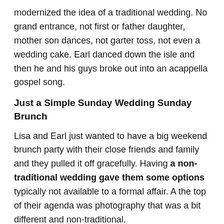modernized the idea of a traditional wedding. No grand entrance, not first or father daughter, mother son dances, not garter toss, not even a wedding cake. Earl danced down the isle and then he and his guys broke out into an acappella gospel song.
Just a Simple Sunday Wedding Sunday Brunch
Lisa and Earl just wanted to have a big weekend brunch party with their close friends and family and they pulled it off gracefully. Having a non-traditional wedding gave them some options typically not available to a formal affair. A the top of their agenda was photography that was a bit different and non-traditional.
1. Lisa & Earl had over an hour of quality time to for their “couples” photography.
2. They were...